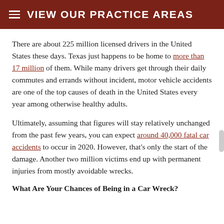VIEW OUR PRACTICE AREAS
There are about 225 million licensed drivers in the United States these days. Texas just happens to be home to more than 17 million of them. While many drivers get through their daily commutes and errands without incident, motor vehicle accidents are one of the top causes of death in the United States every year among otherwise healthy adults.
Ultimately, assuming that figures will stay relatively unchanged from the past few years, you can expect around 40,000 fatal car accidents to occur in 2020. However, that's only the start of the damage. Another two million victims end up with permanent injuries from mostly avoidable wrecks.
What Are Your Chances of Being in a Car Wreck?